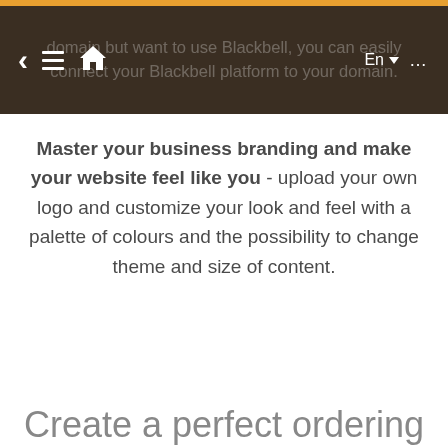domain but want to use Blackbell, you can easily connect your Blackbell platform to your domain.
Master your business branding and make your website feel like you - upload your own logo and customize your look and feel with a palette of colours and the possibility to change theme and size of content.
Create a perfect ordering